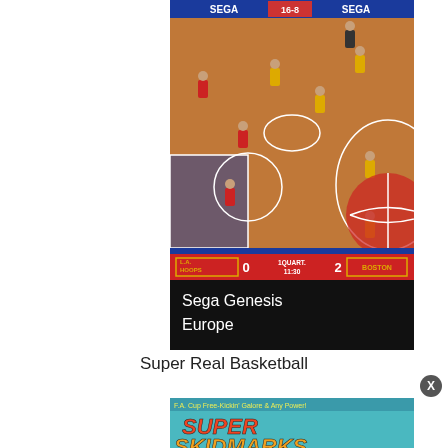[Figure (screenshot): Sega Genesis basketball video game screenshot showing a basketball court top-down view with players in red and yellow uniforms. Score display shows LA Hoops 0, 1QUART. 11:30, Boston 2. Below reads 'Sega Genesis' and 'Europe' on a black background.]
Super Real Basketball
[Figure (screenshot): Partial screenshot of another game showing 'Super Skidmarks' title logo on a colorful background.]